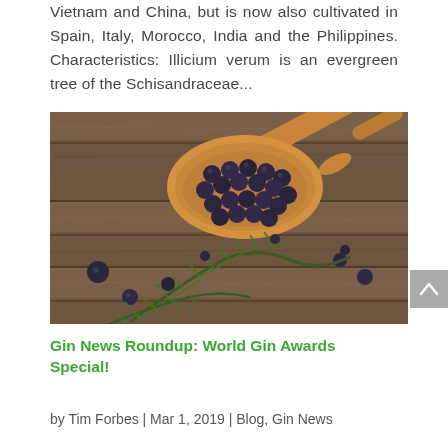Vietnam and China, but is now also cultivated in Spain, Italy, Morocco, India and the Philippines. Characteristics: Illicium verum is an evergreen tree of the Schisandraceae...
[Figure (photo): A wooden spoon filled with dark blue-purple juniper berries, with fresh green juniper sprigs/branches in the foreground, set on a rustic wooden surface. Some loose berries scattered around.]
Gin News Roundup: World Gin Awards Special!
by Tim Forbes | Mar 1, 2019 | Blog, Gin News